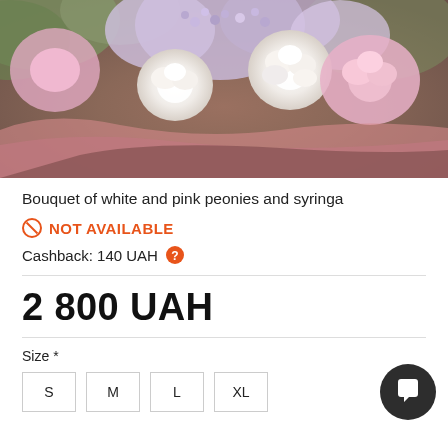[Figure (photo): Photo of a bouquet of white and pink peonies and syringa held by a person, with green foliage background]
Bouquet of white and pink peonies and syringa
NOT AVAILABLE
Cashback: 140 UAH
2 800 UAH
Size *
S
M
L
XL